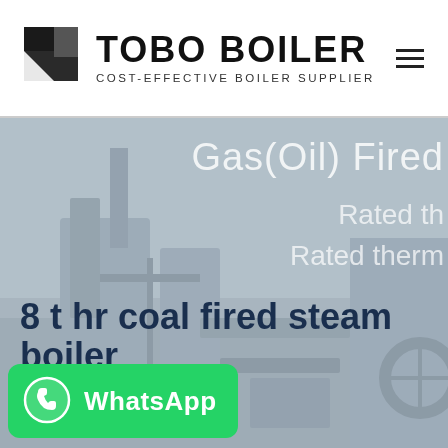[Figure (logo): TOBO BOILER logo with black geometric icon on left, bold text 'TOBO BOILER' and subtitle 'COST-EFFECTIVE BOILER SUPPLIER']
[Figure (photo): Industrial boiler equipment photo used as hero background, muted grey-blue tones with large equipment structures visible]
Gas(Oil) Fired
Rated th
Rated therm
8 t hr coal fired steam boiler
[Figure (other): WhatsApp button in green with phone icon and text 'WhatsApp']